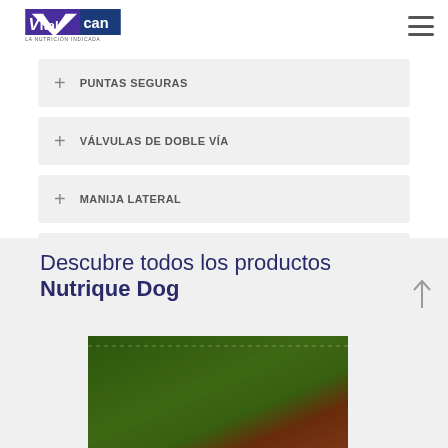VitalCan — La Nutrición Indicada
+ PUNTAS SEGURAS
+ VÁLVULAS DE DOBLE VÍA
+ MANIJA LATERAL
+ ESTRUCTURA DE 5 CARAS
Descubre todos los productos Nutrique Dog
[Figure (photo): Product image of Nutrique Dog packaging, partially visible at bottom of page]